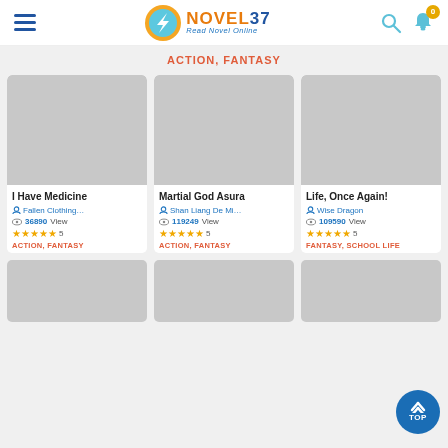Novel 37 - Read Novel Online
ACTION, FANTASY
[Figure (screenshot): Book cover placeholder for I Have Medicine (grey rectangle)]
I Have Medicine
Fallen Clothing... | 36890 View | 5 stars | ACTION, FANTASY
[Figure (screenshot): Book cover placeholder for Martial God Asura (grey rectangle)]
Martial God Asura
Shan Liang De Mi... | 119249 View | 5 stars | ACTION, FANTASY
[Figure (screenshot): Book cover placeholder for Life, Once Again! (grey rectangle)]
Life, Once Again!
Wise Dragon | 109590 View | 5 stars | FANTASY, SCHOOL LIFE